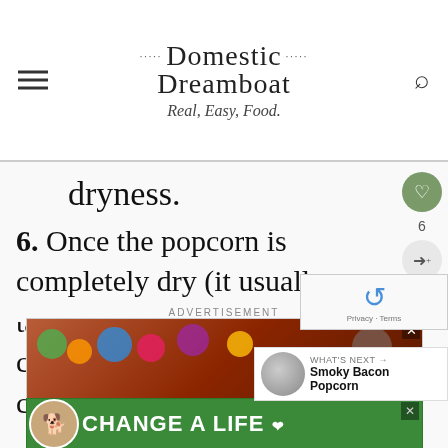Domestic Dreamboat — Real, Easy, Food.
dryness.
6. Once the popcorn is completely dry (it usually takes 2-4 hours for me, in a dry climate), place it into airtight containers or bag
ADVERTISEMENT
[Figure (photo): Advertisement banner with colorful food items]
[Figure (photo): Green banner ad with dog and CHANGE A LIFE text]